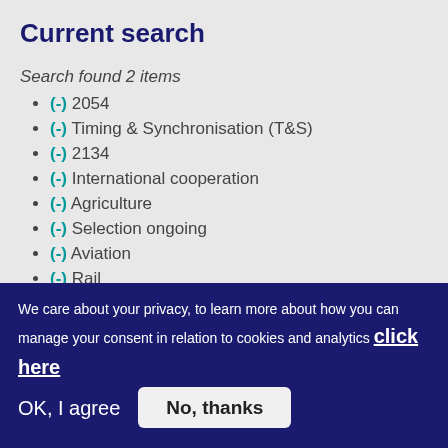Current search
Search found 2 items
(-) 2054
(-) Timing & Synchronisation (T&S)
(-) 2134
(-) International cooperation
(-) Agriculture
(-) Selection ongoing
(-) Aviation
(-) Rail
(-) Road
We care about your privacy, to learn more about how you can manage your consent in relation to cookies and analytics click here
OK, I agree   No, thanks